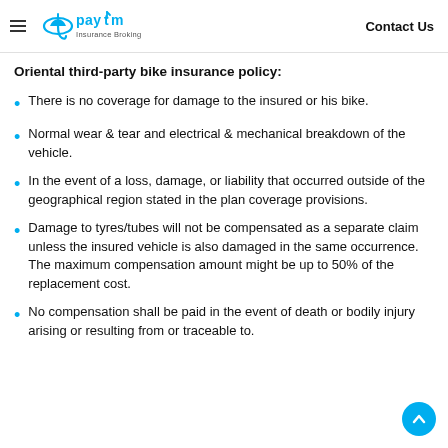Paytm Insurance Broking | Contact Us
Oriental third-party bike insurance policy:
There is no coverage for damage to the insured or his bike.
Normal wear & tear and electrical & mechanical breakdown of the vehicle.
In the event of a loss, damage, or liability that occurred outside of the geographical region stated in the plan coverage provisions.
Damage to tyres/tubes will not be compensated as a separate claim unless the insured vehicle is also damaged in the same occurrence. The maximum compensation amount might be up to 50% of the replacement cost.
No compensation shall be paid in the event of death or bodily injury arising or resulting from or traceable to.